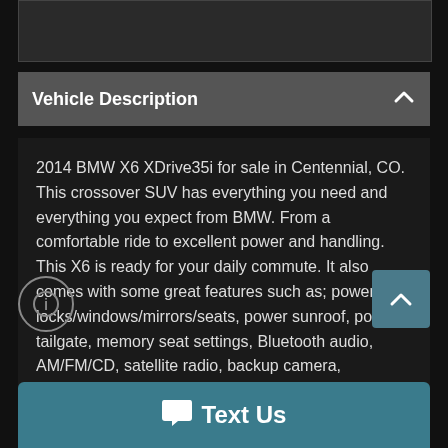[Figure (other): Top image bar placeholder (dark rectangle)]
Vehicle Description
2014 BMW X6 XDrive35i for sale in Centennial, CO. This crossover SUV has everything you need and everything you expect from BMW. From a comfortable ride to excellent power and handling. This X6 is ready for your daily commute. It also comes with some great features such as; power locks/windows/mirrors/seats, power sunroof, power tailgate, memory seat settings, Bluetooth audio, AM/FM/CD, satellite radio, backup camera, navigation, dual climate zone,